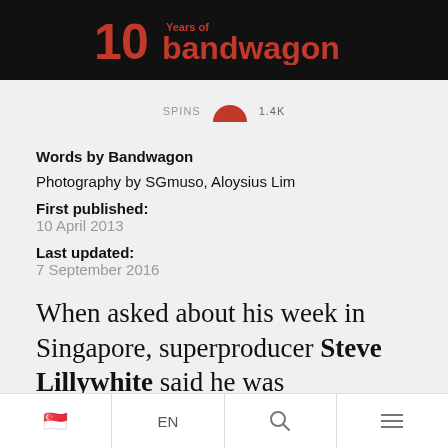10 Years of bandwagon
[Figure (infographic): SPINS icon with arc/rainbow shape and count 1.4K]
Words by Bandwagon
Photography by SGmuso, Aloysius Lim
First published:
10 April 2013
Last updated:
7 September 2016
When asked about his week in Singapore, superproducer Steve Lillywhite said he was
🇸🇬  EN  🔍  ☰